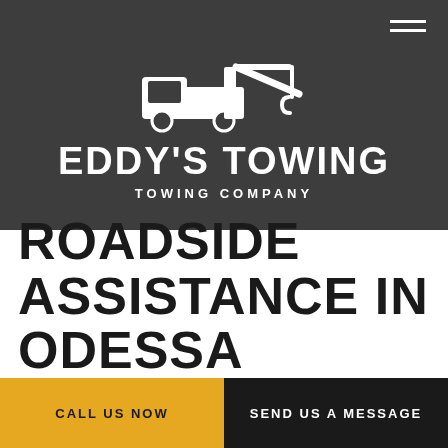[Figure (logo): Eddy's Towing company logo on dark gray background featuring a white tow truck silhouette icon, the text EDDY'S TOWING in large bold white uppercase letters, and TOWING COMPANY in smaller spaced uppercase letters below]
ROADSIDE ASSISTANCE IN ODESSA
CALL US NOW
SEND US A MESSAGE